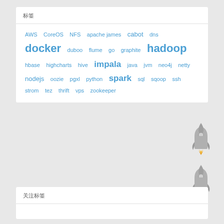标签
[Figure (infographic): Tag cloud with technology terms in blue, varying font sizes: AWS, CoreOS, NFS, apache james, cabot, dns, docker (largest), duboo, flume, go, graphite, hadoop (large), hbase, highcharts, hive, impala (large), java, jvm, neo4j, netty, nodejs, oozie, pgxl, python, spark (large), sql, sqoop, ssh, strom, tez, thrift, vps, zookeeper]
[Figure (illustration): Two gray rocket ship icons stacked vertically on the right side, each with an orange flame/exhaust at the bottom]
关注标签